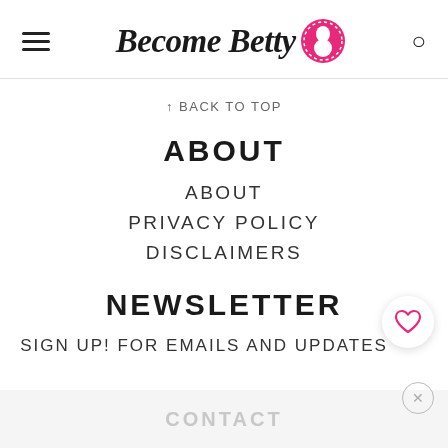Become Betty
↑ BACK TO TOP
ABOUT
ABOUT
PRIVACY POLICY
DISCLAIMERS
NEWSLETTER
SIGN UP! FOR EMAILS AND UPDATES
CONTACT